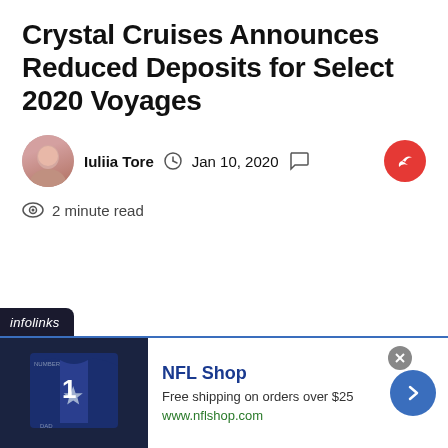Crystal Cruises Announces Reduced Deposits for Select 2020 Voyages
Iuliia Tore  Jan 10, 2020  2 minute read
[Figure (infographic): Advertisement banner: infolinks label, NFL Shop ad with Cowboys jersey image, 'Free shipping on orders over $25', www.nflshop.com]